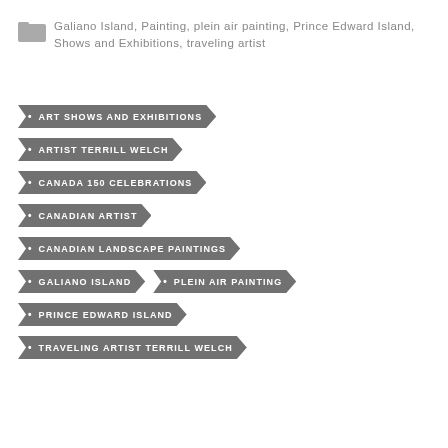Galiano Island, Painting, plein air painting, Prince Edward Island, Shows and Exhibitions, traveling artist
ART SHOWS AND EXHIBITIONS
ARTIST TERRILL WELCH
CANADA 150 CELEBRATIONS
CANADIAN ARTIST
CANADIAN LANDSCAPE PAINTINGS
GALIANO ISLAND
PLEIN AIR PAINTING
PRINCE EDWARD ISLAND
TRAVELING ARTIST TERRILL WELCH